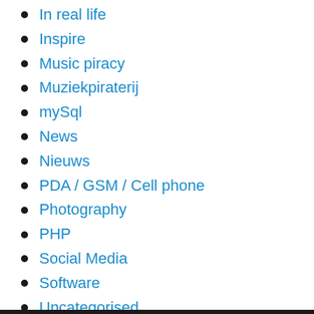In real life
Inspire
Music piracy
Muziekpiraterij
mySql
News
Nieuws
PDA / GSM / Cell phone
Photography
PHP
Social Media
Software
Uncategorised
Webdevelopment